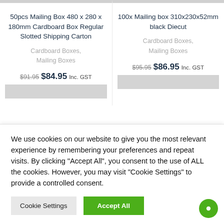50pcs Mailing Box 480 x 280 x 180mm Cardboard Box Regular Slotted Shipping Carton
Cardboard Boxes, Mailing Boxes
$91.95 $84.95 Inc. GST
100x Mailing box 310x230x52mm black Diecut
Cardboard Boxes, Mailing Boxes
$95.95 $86.95 Inc. GST
We use cookies on our website to give you the most relevant experience by remembering your preferences and repeat visits. By clicking "Accept All", you consent to the use of ALL the cookies. However, you may visit "Cookie Settings" to provide a controlled consent.